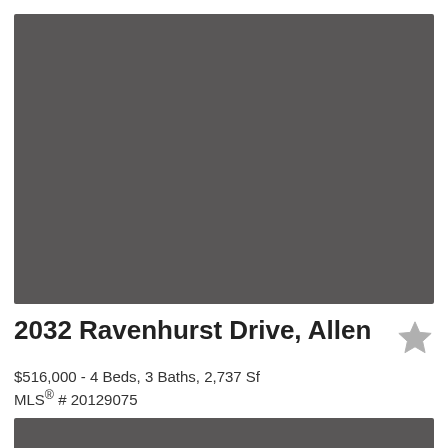[Figure (photo): Property photo placeholder — solid dark gray rectangle representing the main listing photo for 2032 Ravenhurst Drive, Allen]
2032 Ravenhurst Drive, Allen
$516,000 - 4 Beds, 3 Baths, 2,737 Sf
MLS® # 20129075
[Figure (photo): Partial gray bar at bottom — additional listing photo strip]